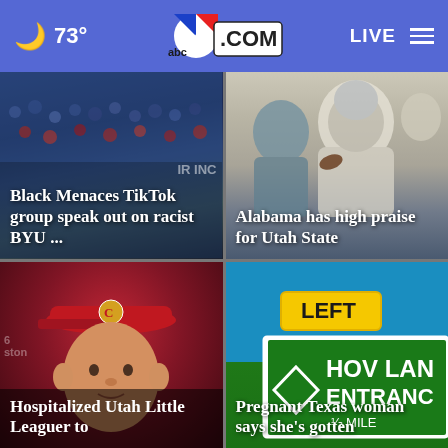🌙 73° | abc4.com | LIVE
[Figure (photo): Sports crowd at a stadium, football game scene]
Black Menaces TikTok group speak out on racist BYU ...
[Figure (photo): Close-up of football players on a field]
Alabama has high praise for Utah State
[Figure (photo): Young boy in red baseball cap, Little League player]
Hospitalized Utah Little Leaguer to
[Figure (photo): Road signs showing LEFT, HOV LANE ENTRANCE, 1/2 MILE]
Pregnant Texas woman says she's gotten